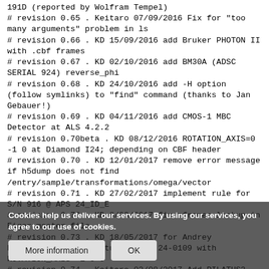191D (reported by Wolfram Tempel)
# revision 0.65 . Keitaro 07/09/2016 Fix for "too many arguments" problem in ls
# revision 0.66 . KD 15/09/2016 add Bruker PHOTON II with .cbf frames
# revision 0.67 . KD 02/10/2016 add BM30A (ADSC SERIAL 924) reverse_phi
# revision 0.68 . KD 24/10/2016 add -H option (follow symlinks) to "find" command (thanks to Jan Gebauer!)
# revision 0.69 . KD 04/11/2016 add CMOS-1 MBC Detector at ALS 4.2.2
# revision 0.70beta . KD 08/12/2016 ROTATION_AXIS=0 -1 0 at Diamond I24; depending on CBF header
# revision 0.70 . KD 12/01/2017 remove error message if h5dump does not find /entry/sample/transformations/omega/vector
# revision 0.71 . KD 27/02/2017 implement rule for S/N 916 @ APS 24_ID_E
# revision 0.72 . KD 8/03/2017 fix nframes lookup in Eiger master file
# revision 0.73 . KD 18/05/2017 for Andrey Nascimento: add Pilatus 2M S/N 24-0109 with ROTATION_AXIS=-1 0 0
# revision 0.74 . Keitaro 02/08/2017 Add PILATUS3 6M, S/N 60-0127 at CHESS F1 with  ROTATION_AXIS=-1 0 0
# revision 0.75 . KD 31/08/2017 reverse_ORCx and ... SCD @ BM14 (Indian beamline @ ESRF)
# revision 0.76 . KD 4/09/2017 include POSITION into REFINE(IDX... is more robust. Add comm...
# revision 0.77 . KD 10/10/2017 obtain IDX f...
Cookies help us deliver our services. By using our services, you agree to our use of cookies.